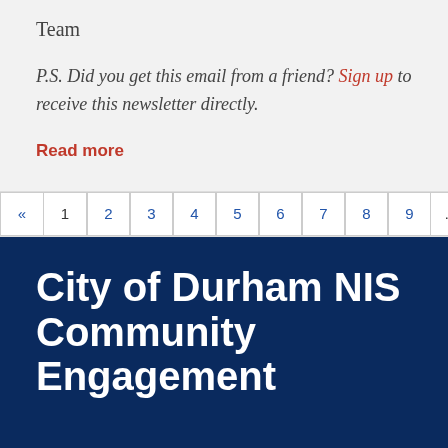Team
P.S. Did you get this email from a friend? Sign up to receive this newsletter directly.
Read more
« 1 2 3 4 5 6 7 8 9 … 22 23 »
City of Durham NIS Community Engagement